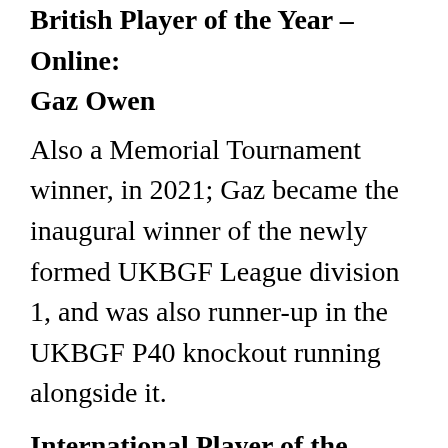British Player of the Year – Online: Gaz Owen
Also a Memorial Tournament winner, in 2021; Gaz became the inaugural winner of the newly formed UKBGF League division 1, and was also runner-up in the UKBGF P40 knockout running alongside it.
International Player of the Year: Mochy
Many of us will have been watching the UBC videos and left in awe at another superb display of backgammon. I certainly did, and I've run out of superlatives to describe what I saw – it was a level of the game us mere mortals